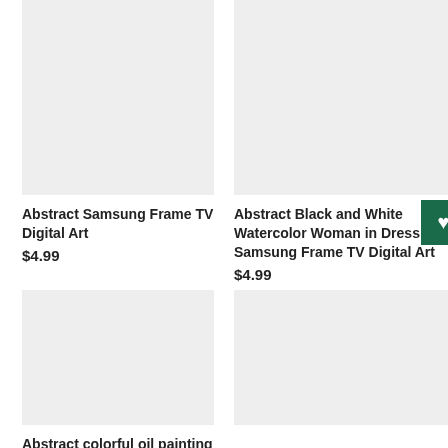[Figure (photo): Product image placeholder, light gray background, first product]
Abstract Samsung Frame TV Digital Art
$4.99
[Figure (photo): Product image placeholder, light gray background, second product]
Abstract Black and White Watercolor Woman in Dress Samsung Frame TV Digital Art
$4.99
[Figure (photo): Product image placeholder, light gray background, third product]
Abstract colorful oil painting (truncated, continues below)